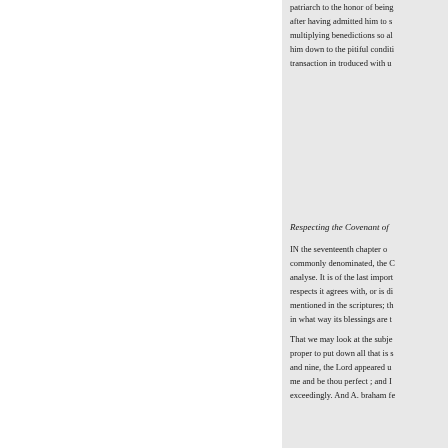patriarch to the honor of being after having admitted him to s multiplying benedictions so al him down to the pitiful conditi transaction in troduced with u
Respecting the Covenant of
IN the seventeenth chapter o commonly denominated, the C analyse. It is of the last import respects it agrees with, or is di mentioned in the scriptures; th in what way its blessings are t
That we may look at the subje proper to put down all that is s and nine, the Lord appeared u me and be thou perfect ; and I exceedingly. And A. braham fe